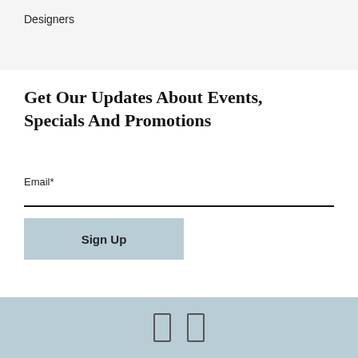Designers
Get Our Updates About Events, Specials And Promotions
Email*
Sign Up